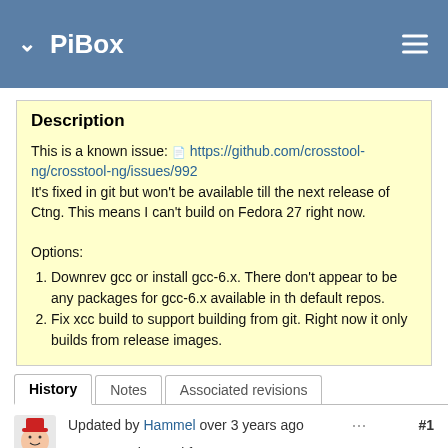PiBox
Description
This is a known issue: https://github.com/crosstool-ng/crosstool-ng/issues/992
It's fixed in git but won't be available till the next release of Ctng.
This means I can't build on Fedora 27 right now.

Options:
1. Downrev gcc or install gcc-6.x. There don't appear to be any packages for gcc-6.x available in th default repos.
2. Fix xcc build to support building from git. Right now it only builds from release images.
History | Notes | Associated revisions
Updated by Hammel over 3 years ago #1
• Status changed from New to In Progress
• % Done changed from 0 to 30